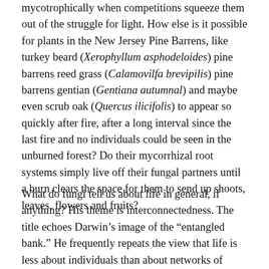mycotrophically when competitions squeeze them out of the struggle for light. How else is it possible for plants in the New Jersey Pine Barrens, like turkey beard (Xerophyllum asphodeloides) pine barrens reed grass (Calamovilfa brevipilis) pine barrens gentian (Gentiana autumnal) and maybe even scrub oak (Quercus ilicifolis) to appear so quickly after fire, after a long interval since the last fire and no individuals could be seen in the unburned forest? Do their mycorrhizal root systems simply live off their fungal partners until a burn clears the space for them to send up shoots, leaves, flowers and fruits?
What do fungi tell us about life in general, if anything? His theme is interconnectedness. The title echoes Darwin's image of the “entangled bank.” He frequently repeats the view that life is less about individuals than about networks of interactions and